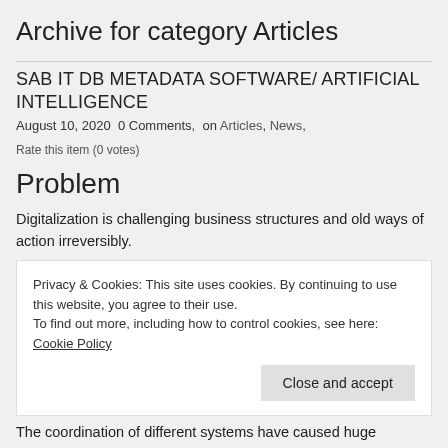Archive for category Articles
SAB IT DB METADATA SOFTWARE/ ARTIFICIAL INTELLIGENCE
August 10, 2020 0 Comments, on Articles, News,
Rate this item (0 votes)
Problem
Digitalization is challenging business structures and old ways of action irreversibly.
Privacy & Cookies: This site uses cookies. By continuing to use this website, you agree to their use.
To find out more, including how to control cookies, see here: Cookie Policy
Close and accept
The coordination of different systems have caused huge